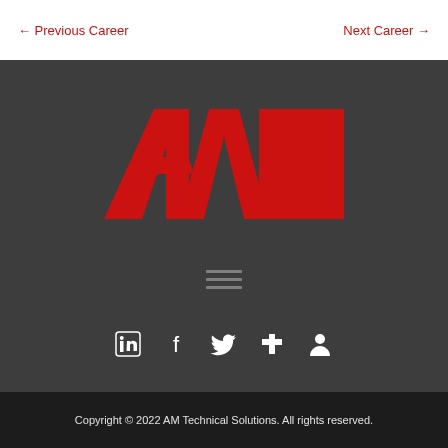← Previous Career    Next Career →
[Figure (logo): AM Technical Solutions red logo on dark grey background]
[Figure (other): Hamburger menu icon (three horizontal lines) on dark grey background]
[Figure (other): Social media icons row: LinkedIn, Facebook, Twitter, cross/church, person icon]
Copyright © 2022 AM Technical Solutions. All rights reserved.